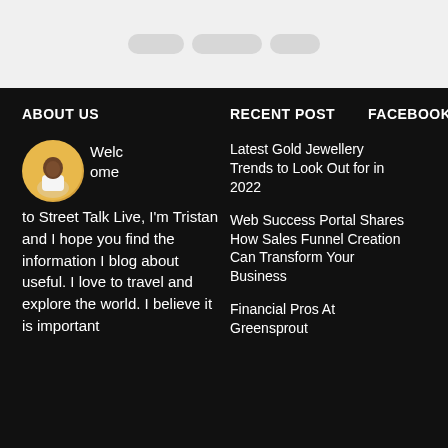[Figure (other): Top navigation bar placeholder with light gray background and pill-shaped tab indicators]
ABOUT US
RECENT POST
FACEBOOK
[Figure (photo): Circular avatar photo of a man in a white shirt on a yellow/gold background]
Welcome to Street Talk Live, I'm Tristan and I hope you find the information I blog about useful. I love to travel and explore the world. I believe it is important
Latest Gold Jewellery Trends to Look Out for in 2022
Web Success Portal Shares How Sales Funnel Creation Can Transform Your Business
Financial Pros At Greensprout